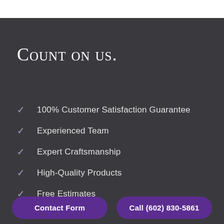Count on us.
100% Customer Satisfaction Guarantee
Experienced Team
Expert Craftsmanship
High-Quality Products
Free Estimates
Contact Form
Call (602) 830-5861